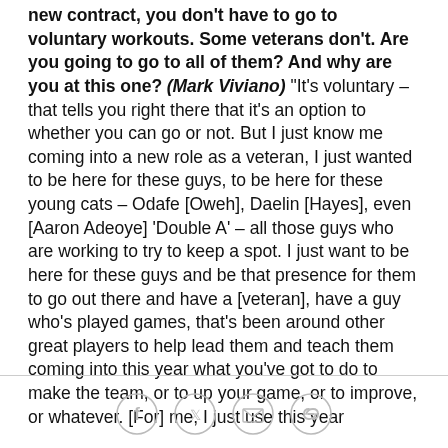new contract, you don't have to go to voluntary workouts. Some veterans don't. Are you going to go to all of them? And why are you at this one? (Mark Viviano) "It's voluntary – that tells you right there that it's an option to whether you can go or not. But I just know me coming into a new role as a veteran, I just wanted to be here for these guys, to be here for these young cats – Odafe [Oweh], Daelin [Hayes], even [Aaron Adeoye] 'Double A' – all those guys who are working to try to keep a spot. I just want to be here for these guys and be that presence for them to go out there and have a [veteran], have a guy who's played games, that's been around other great players to help lead them and teach them coming into this year what you've got to do to make the team, or to up your game, or to improve, or whatever. [For] me, I just use this year
[Figure (other): Social sharing icons: Facebook, Twitter, Email, Link]